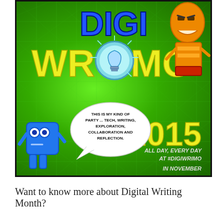[Figure (illustration): DigiWriMo 2015 promotional poster with green glowing grid background, 'DIGI' in blue letters at top, 'WRIMO' in yellow letters with a light bulb as the 'O', orange robot character top right, blue robot character bottom left, speech bubble saying 'THIS IS MY KIND OF PARTY ... TECH, WRITING, EXPLORATION, COLLABORATION AND REFLECTION.', year '2015' in yellow, and text 'ALL DAY, EVERY DAY AT #DIGIWRIMO IN NOVEMBER']
Want to know more about Digital Writing Month?